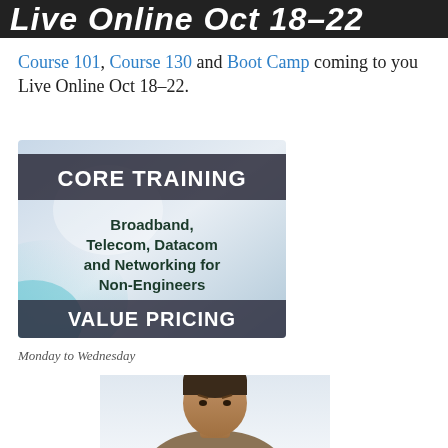Live Online Oct 18-22
Course 101, Course 130 and Boot Camp coming to you Live Online Oct 18-22.
[Figure (illustration): Advertisement graphic for Core Training - Broadband, Telecom, Datacom and Networking for Non-Engineers, VALUE PRICING]
Monday to Wednesday
[Figure (photo): Photo of a man looking stressed or focused, visible from shoulders up]